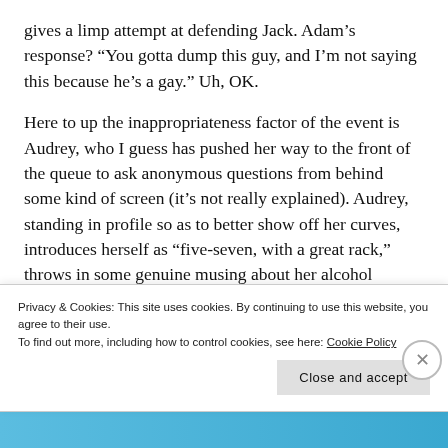gives a limp attempt at defending Jack. Adam's response? “You gotta dump this guy, and I’m not saying this because he’s a gay.” Uh, OK.
Here to up the inappropriateness factor of the event is Audrey, who I guess has pushed her way to the front of the queue to ask anonymous questions from behind some kind of screen (it’s not really explained). Audrey, standing in profile so as to better show off her curves, introduces herself as “five-seven, with a great rack,” throws in some genuine musing about her alcohol problem and the loyal friends who helped
Privacy & Cookies: This site uses cookies. By continuing to use this website, you agree to their use.
To find out more, including how to control cookies, see here: Cookie Policy